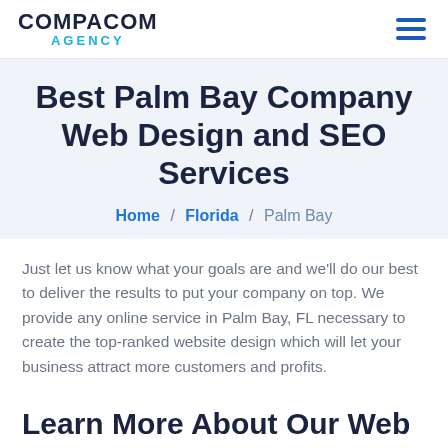COMPAСOM AGENCY
Best Palm Bay Company Web Design and SEO Services
Home / Florida / Palm Bay
Just let us know what your goals are and we'll do our best to deliver the results to put your company on top. We provide any online service in Palm Bay, FL necessary to create the top-ranked website design which will let your business attract more customers and profits.
Learn More About Our Web Design, SEO Services in Palm Bay